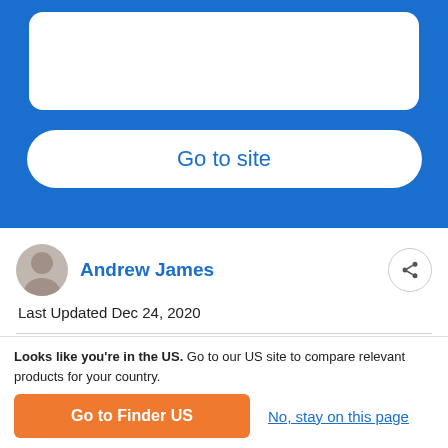[Figure (screenshot): Blue UI section with a white rounded card at top and a 'Go to site' button with white pill shape on blue background]
Andrew James
Last Updated Dec 24, 2020
Take your first steps into crypto with
Looks like you're in the US. Go to our US site to compare relevant products for your country.
Go to Finder US
No, stay on this page